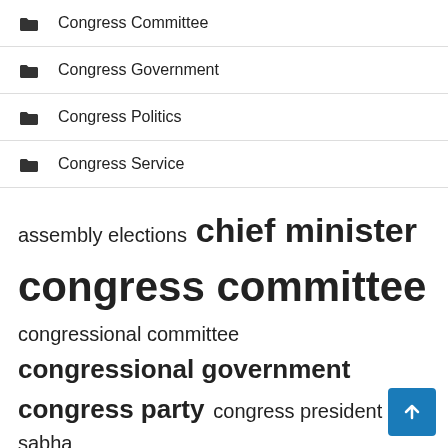Congress Committee
Congress Government
Congress Politics
Congress Service
assembly elections  chief minister  congress committee  congressional committee  congressional government  congress party  congress president  lok sabha  members congress  narendra modi  pradesh congress  prime minister